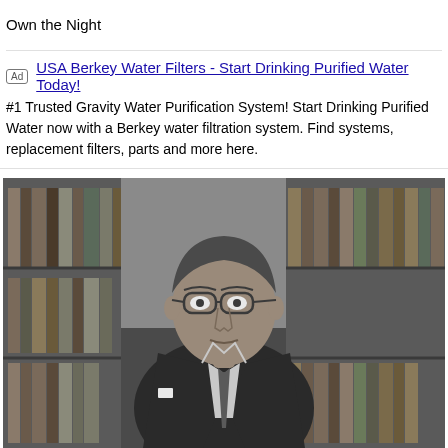Own the Night
Ad  USA Berkey Water Filters - Start Drinking Purified Water Today!
#1 Trusted Gravity Water Purification System! Start Drinking Purified Water now with a Berkey water filtration system. Find systems, replacement filters, parts and more here.
[Figure (photo): Black and white portrait photograph of a middle-aged man in a suit and tie, wearing glasses, standing in front of a bookshelf filled with books.]